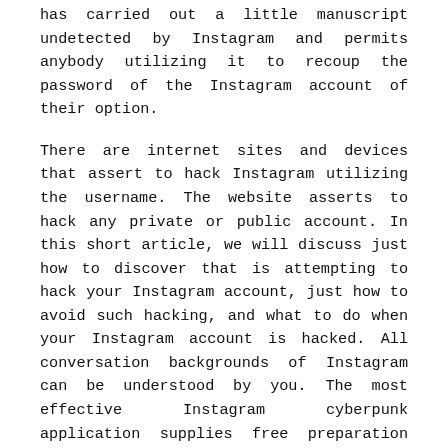has carried out a little manuscript undetected by Instagram and permits anybody utilizing it to recoup the password of the Instagram account of their option.
There are internet sites and devices that assert to hack Instagram utilizing the username. The website asserts to hack any private or public account. In this short article, we will discuss just how to discover that is attempting to hack your Instagram account, just how to avoid such hacking, and what to do when your Instagram account is hacked. All conversation backgrounds of Instagram can be understood by you. The most effective Instagram cyberpunk application supplies free preparation for you to take pleasure in virtually all the attributes before buying. Businesses and mommies and also papas are bothered with the expanding Instagram dependence. The most significant issue with these online services is that they